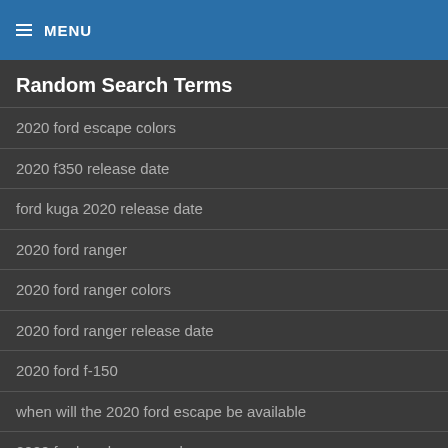≡ MENU
Random Search Terms
2020 ford escape colors
2020 f350 release date
ford kuga 2020 release date
2020 ford ranger
2020 ford ranger colors
2020 ford ranger release date
2020 ford f-150
when will the 2020 ford escape be available
2020 ford explorer canada
2020 ford escape sport